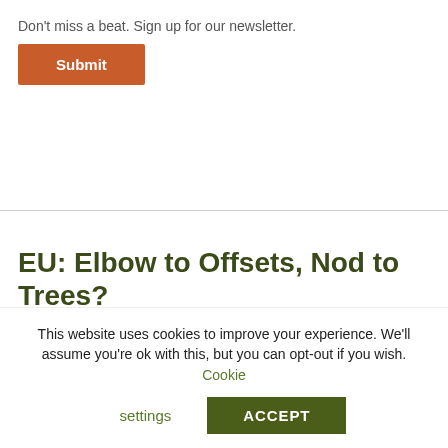Don't miss a beat. Sign up for our newsletter.
Submit
EU: Elbow to Offsets, Nod to Trees?
STEVE ZWICK
The European Parliament's Environment Committee on Tuesday called for tighter
This website uses cookies to improve your experience. We'll assume you're ok with this, but you can opt-out if you wish. Cookie settings ACCEPT